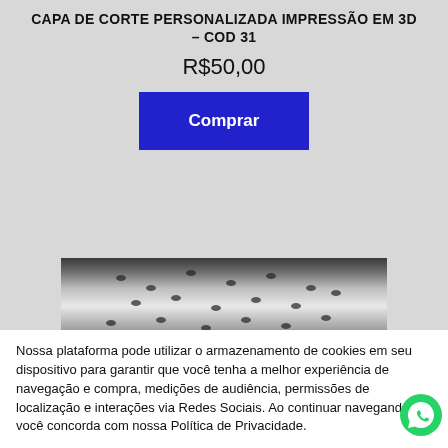CAPA DE CORTE PERSONALIZADA IMPRESSÃO EM 3D – COD 31
R$50,00
[Figure (screenshot): Blue 'Comprar' (Buy) button]
[Figure (photo): Photo of a white hairdressing cape with black butterfly print pattern]
Nossa plataforma pode utilizar o armazenamento de cookies em seu dispositivo para garantir que você tenha a melhor experiência de navegação e compra, medições de audiência, permissões de localização e interações via Redes Sociais. Ao continuar navegando, você concorda com nossa Política de Privacidade.
[Figure (logo): WhatsApp green circle logo icon]
Aceitar